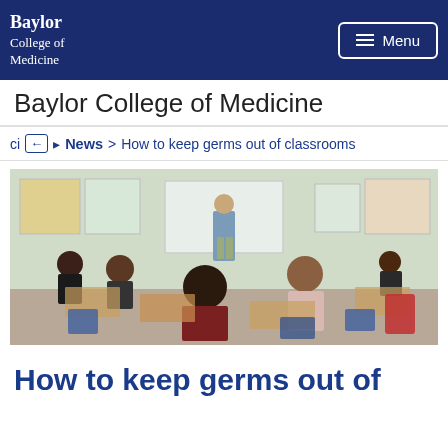Baylor College of Medicine | Menu
Baylor College of Medicine
ci ← News > How to keep germs out of classrooms
[Figure (photo): Classroom photo showing students seated at desks facing a teacher standing at the front near a whiteboard]
How to keep germs out of classrooms